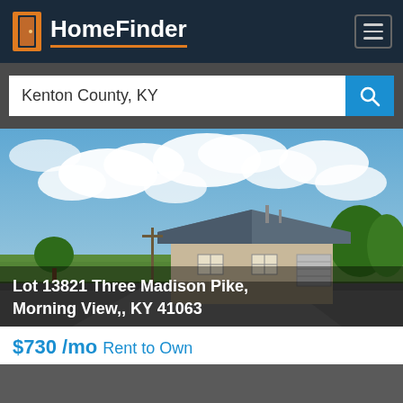HomeFinder
Kenton County, KY
[Figure (photo): Exterior photo of a single-story building with blue/grey roof at Lot 13821 Three Madison Pike, Morning View, KY 41063. Wide open field and blue sky with clouds in background.]
Lot 13821 Three Madison Pike, Morning View,, KY 41063
$730 /mo Rent to Own